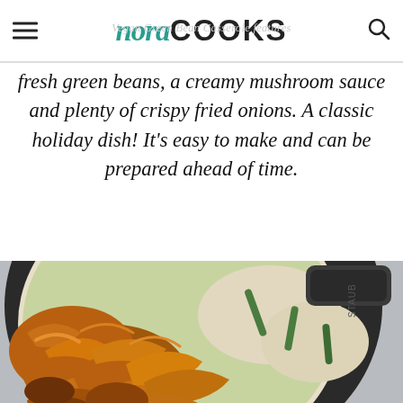nora COOKS
fresh green beans, a creamy mushroom sauce and plenty of crispy fried onions. A classic holiday dish! It's easy to make and can be prepared ahead of time.
[Figure (photo): A cast iron skillet filled with green bean casserole topped with crispy fried onions, viewed from above at an angle. The skillet shows green beans in a creamy mushroom sauce with golden-brown crispy fried onions piled on top. A Staub cast iron pan handle is visible in the upper right.]